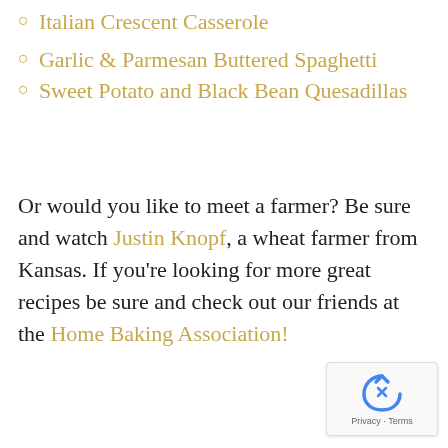Italian Crescent Casserole
Garlic & Parmesan Buttered Spaghetti
Sweet Potato and Black Bean Quesadillas
Or would you like to meet a farmer? Be sure and watch Justin Knopf, a wheat farmer from Kansas. If you're looking for more great recipes be sure and check out our friends at the Home Baking Association!
[Figure (other): reCAPTCHA privacy badge with recycling-style arrow icon and Privacy · Terms text]